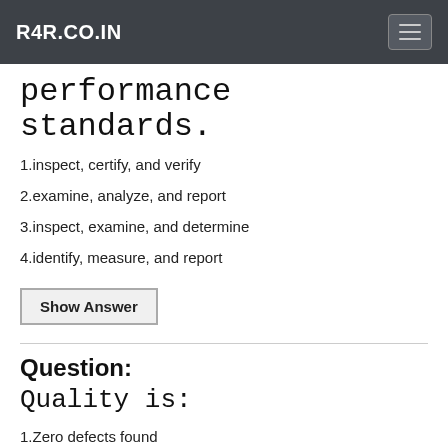R4R.CO.IN
performance standards.
1.inspect, certify, and verify
2.examine, analyze, and report
3.inspect, examine, and determine
4.identify, measure, and report
Show Answer
Question: Quality is:
1.Zero defects found